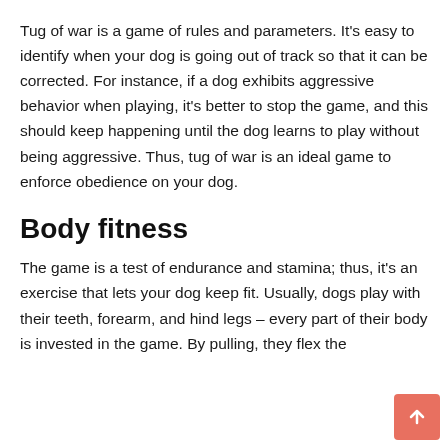Tug of war is a game of rules and parameters. It's easy to identify when your dog is going out of track so that it can be corrected. For instance, if a dog exhibits aggressive behavior when playing, it's better to stop the game, and this should keep happening until the dog learns to play without being aggressive. Thus, tug of war is an ideal game to enforce obedience on your dog.
Body fitness
The game is a test of endurance and stamina; thus, it's an exercise that lets your dog keep fit. Usually, dogs play with their teeth, forearm, and hind legs – every part of their body is invested in the game. By pulling, they flex the